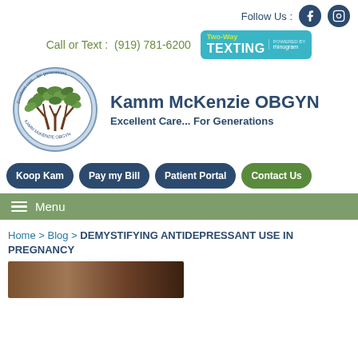Follow Us : [Facebook] [Instagram]
Call or Text : (919) 781-6200  Two-Way TEXTING powered by rhinogram
[Figure (logo): Kamm McKenzie OBGYN circular logo with tree design and text 'Excellent care... for generations' and 'KAMM MCKENZIE OBGYN']
Kamm McKenzie OBGYN
Excellent Care... For Generations
Koop Kam | Pay my Bill | Patient Portal | Contact Us
Menu
Home > Blog > DEMYSTIFYING ANTIDEPRESSANT USE IN PREGNANCY
[Figure (photo): Partial photo image at bottom of page]